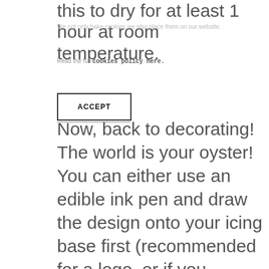this to dry for at least 1 hour at room temperature.
We not only bake cookies we also place them on our website.
Read the full cookies policy here.
[Figure (other): ACCEPT button with border]
Now, back to decorating! The world is your oyster! You can either use an edible ink pen and draw the design onto your icing base first (recommended for a logo, or if you haven't done this before). There are amazing apps out there like Fino that allow you to project any design onto your biscuit from your phone, which you can then trace. This is the secret to flawless biscuit designs that look like a copy rather than hand-drawn.